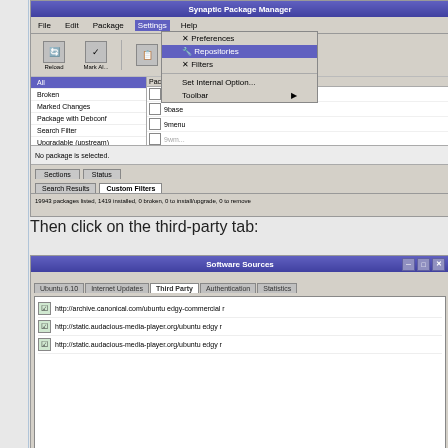[Figure (screenshot): Synaptic Package Manager window with Settings menu open, showing Repositories option highlighted. Menu items: Preferences, Repositories (highlighted), Filters, Set Internal Option..., Toolbar. Left panel shows filter categories: All (selected), Broken, Marked Changes, Package with Debconf, Search Filter, Upgradable (upstream). Right panel shows packages: 915resolution, 9base, 9menu, 9wm. Status bar: 19943 packages listed, 1419 installed, 0 broken, 0 to install/upgrade, 0 to remove]
Then click on the third-party tab:
[Figure (screenshot): Software Sources dialog with tabs: Ubuntu 6.10, Internet Updates, Third Party (active), Authentication, Statistics. Content shows three checked entries: http://archive.canonical.com/ubuntu edgy-commercial r, http://static.audacious-media-player.org/ubuntu edgy r, http://static.audacious-media-player.org/ubuntu edgy r]